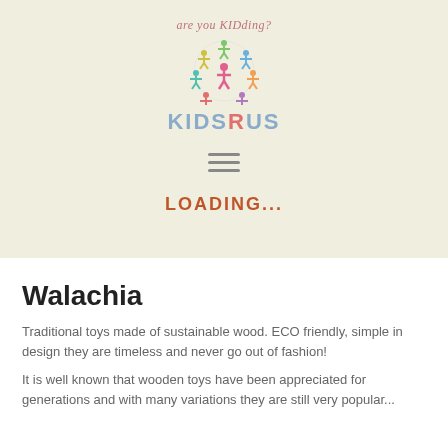[Figure (logo): KidsRus logo with colorful paper-doll people arranged in a globe shape, tagline 'are you KIDding?' above, brand name 'KIDSRUS' below in blue with red R]
[Figure (other): Hamburger menu icon with three horizontal gray lines]
LOADING...
Walachia
Traditional toys made of sustainable wood. ECO friendly, simple in design they are timeless and never go out of fashion!
It is well known that wooden toys have been appreciated for generations and with many variations they are still very popular...